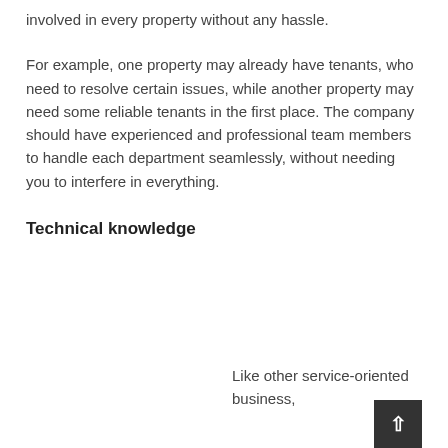involved in every property without any hassle.
For example, one property may already have tenants, who need to resolve certain issues, while another property may need some reliable tenants in the first place. The company should have experienced and professional team members to handle each department seamlessly, without needing you to interfere in everything.
Technical knowledge
Like other service-oriented businesses,